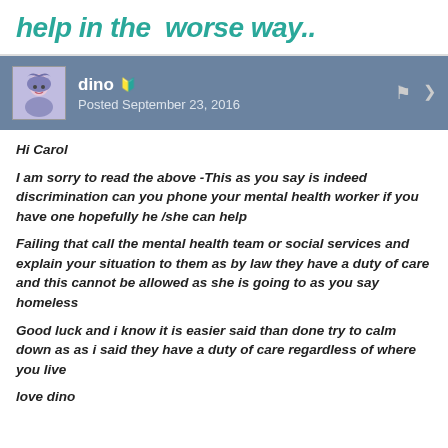help in the  worse way..
dino
Posted September 23, 2016
Hi Carol

I am sorry to read the above -This as you say is indeed discrimination can you phone your mental health worker if you have one hopefully he /she can help

Failing that call the mental health team or social services and explain your situation to them as by law they have a duty of care and this cannot be allowed as she is going to as you say homeless

Good luck and i know it is easier said than done try to calm down as as i said they have a duty of care regardless of where you live

love dino